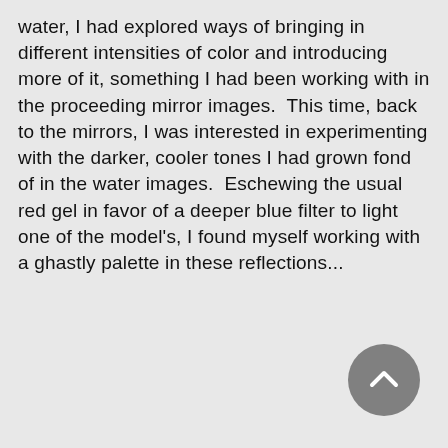water, I had explored ways of bringing in different intensities of color and introducing more of it, something I had been working with in the proceeding mirror images.  This time, back to the mirrors, I was interested in experimenting with the darker, cooler tones I had grown fond of in the water images.  Eschewing the usual red gel in favor of a deeper blue filter to light one of the model's, I found myself working with a ghastly palette in these reflections...
[Figure (other): A circular grey back/up navigation button with a white chevron arrow pointing upward, positioned in the bottom-right corner of the page.]